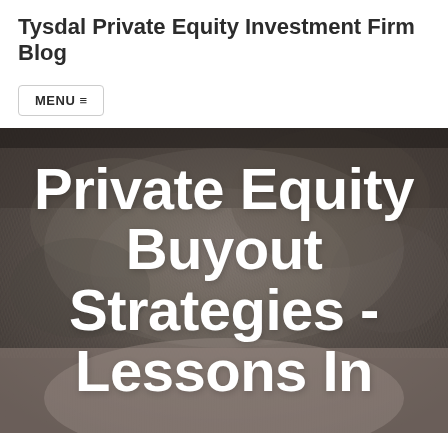Tysdal Private Equity Investment Firm Blog
MENU ≡
[Figure (photo): Close-up photo of a man's scalp and forehead with short hair, used as a hero image background for a blog post about Private Equity Buyout Strategies.]
Private Equity Buyout Strategies - Lessons In